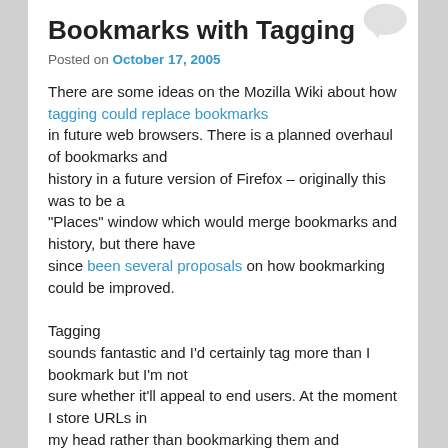Bookmarks with Tagging
Posted on October 17, 2005
There are some ideas on the Mozilla Wiki about how tagging could replace bookmarks in future web browsers. There is a planned overhaul of bookmarks and history in a future version of Firefox – originally this was to be a "Places" window which would merge bookmarks and history, but there have since been several proposals on how bookmarking could be improved.

Tagging sounds fantastic and I'd certainly tag more than I bookmark but I'm not sure whether it'll appeal to end users. At the moment I store URLs in my head rather than bookmarking them and Firefox's autocomplete usually